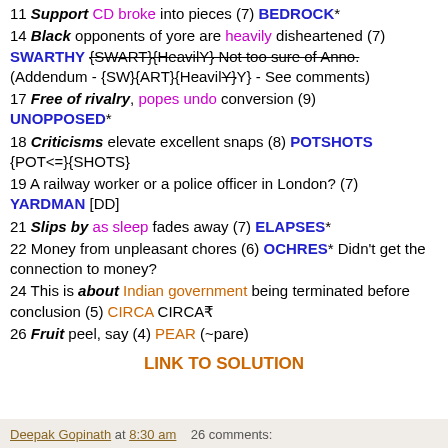11 Support CD broke into pieces (7) BEDROCK*
14 Black opponents of yore are heavily disheartened (7) SWARTHY {SWART}{HeavilY} Not too sure of Anno. (Addendum - {SW}{ART}{HeavilY} - See comments)
17 Free of rivalry, popes undo conversion (9) UNOPPOSED*
18 Criticisms elevate excellent snaps (8) POTSHOTS {POT<=}{SHOTS}
19 A railway worker or a police officer in London? (7) YARDMAN [DD]
21 Slips by as sleep fades away (7) ELAPSES*
22 Money from unpleasant chores (6) OCHRES* Didn't get the connection to money?
24 This is about Indian government being terminated before conclusion (5) CIRCA CIRCA₹
26 Fruit peel, say (4) PEAR (~pare)
LINK TO SOLUTION
Deepak Gopinath at 8:30 am   26 comments: